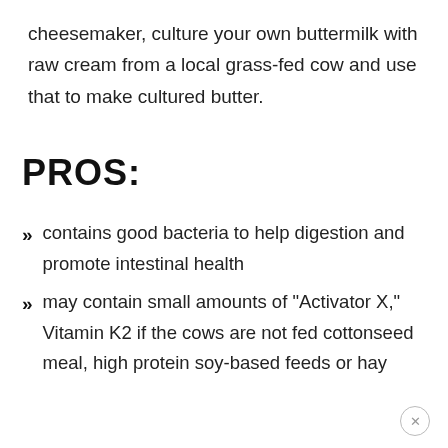cheesemaker, culture your own buttermilk with raw cream from a local grass-fed cow and use that to make cultured butter.
PROS:
contains good bacteria to help digestion and promote intestinal health
may contain small amounts of "Activator X," Vitamin K2 if the cows are not fed cottonseed meal, high protein soy-based feeds or hay